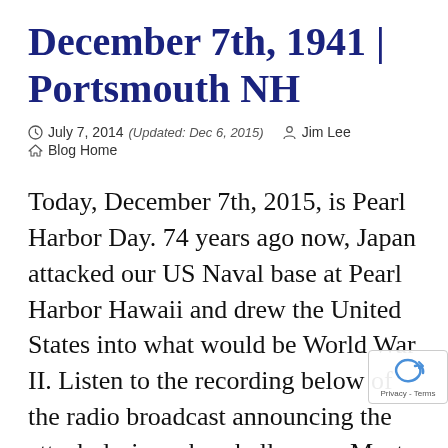December 7th, 1941 | Portsmouth NH
July 7, 2014 (Updated: Dec 6, 2015)  Jim Lee  Blog Home
Today, December 7th, 2015, is Pearl Harbor Day. 74 years ago now, Japan attacked our US Naval base at Pearl Harbor Hawaii and drew the United States into what would be World War II. Listen to the recording below of the radio broadcast announcing the attack during a baseball game.  Most of this post